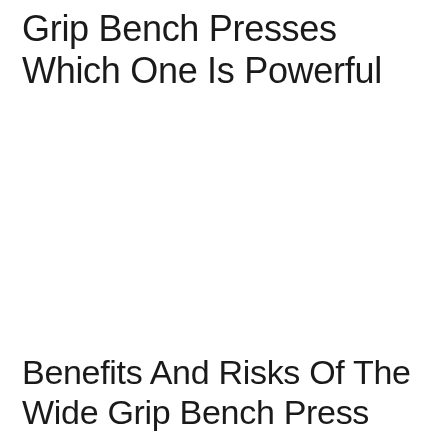Grip Bench Presses Which One Is Powerful
Benefits And Risks Of The Wide Grip Bench Press